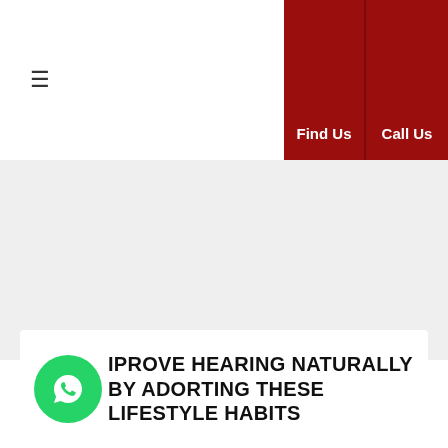≡   Find Us   Call Us
[Figure (other): Gray banner/image placeholder section]
IMPROVE HEARING NATURALLY BY ADOPTING THESE LIFESTYLE HABITS